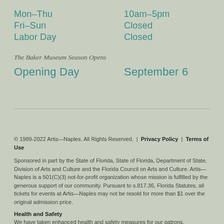Mon–Thu   10am–5pm
Fri–Sun   Closed
Labor Day   Closed
The Baker Museum Season Opens
Opening Day   September 6
© 1989-2022 Artis—Naples. All Rights Reserved.  |  Privacy Policy  |  Terms of Use
Sponsored in part by the State of Florida, State of Florida, Department of State, Division of Arts and Culture and the Florida Council on Arts and Culture. Artis—Naples is a 501(C)(3) not-for-profit organization whose mission is fulfilled by the generous support of our community. Pursuant to s.817.36, Florida Statutes, all tickets for events at Artis—Naples may not be resold for more than $1 over the original admission price.
Health and Safety
We have taken enhanced health and safety measures for our patrons, musicians, team members, volunteers and visiting artists. We require all visitors on the